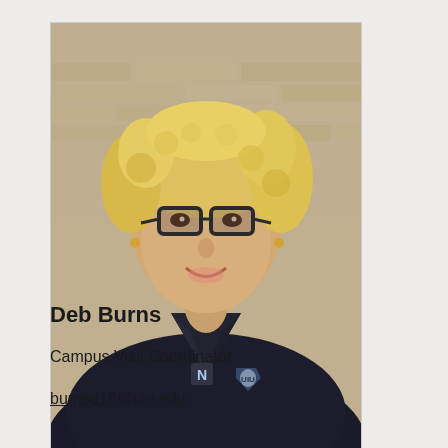[Figure (photo): Headshot photo of Deb Burns, a woman with curly blonde hair and dark-rimmed glasses, wearing a black polo shirt with a logo, standing in front of a stone wall background.]
Deb Burns
Campus Visit Coordinator
burnsd16@uiu.edu